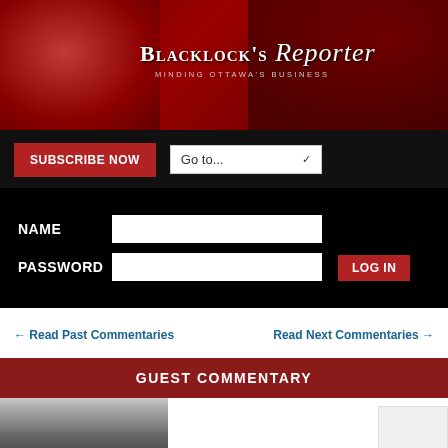[Figure (photo): Blacklock's Reporter website header banner with red background, face silhouette on left, gothic architecture on right, and logo text in center]
BLACKLOCK'S Reporter — MINDING OTTAWA'S BUSINESS
SUBSCRIBE NOW
Go to...
NAME
PASSWORD
LOG IN
← Read Past Commentaries
Read Next Commentaries →
GUEST COMMENTARY
[Figure (photo): Black and white photograph of an older man with a baby or young child]